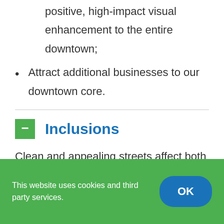positive, high-impact visual enhancement to the entire downtown;
Attract additional businesses to our downtown core.
Inclusions
Clean and appealing streets affect both aesthetic impression of place and perceived safety. By making beautification
This website uses cookies and third party services.